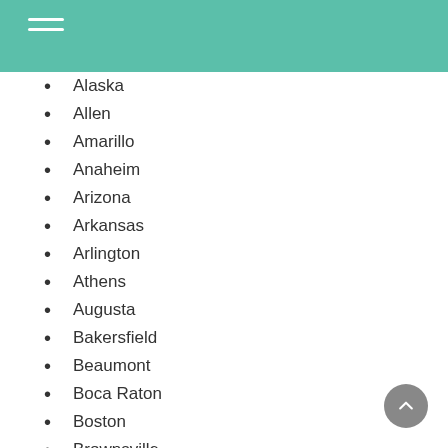Navigation menu header bar with hamburger icon
Alaska
Allen
Amarillo
Anaheim
Arizona
Arkansas
Arlington
Athens
Augusta
Bakersfield
Beaumont
Boca Raton
Boston
Brownsville
California
Carrollton
Charlotte